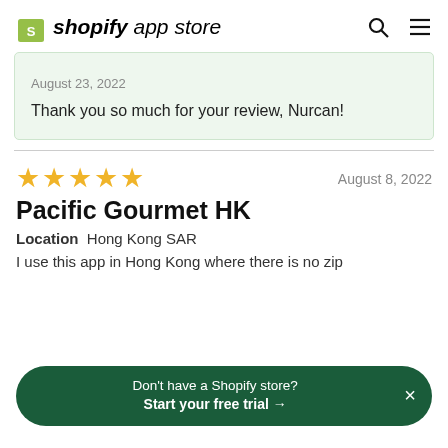shopify app store
August 23, 2022
Thank you so much for your review, Nurcan!
★★★★★  August 8, 2022
Pacific Gourmet HK
Location  Hong Kong SAR
I use this app in Hong Kong where there is no zip
Don't have a Shopify store?
Start your free trial →